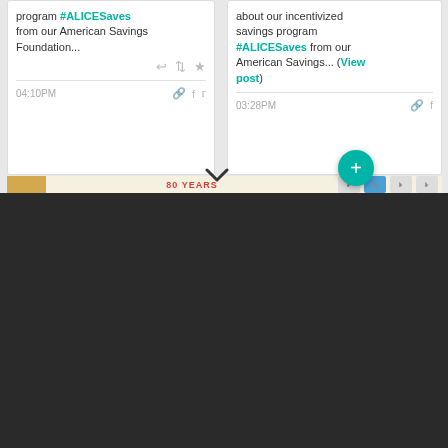[Figure (screenshot): Screenshot of a social media dashboard showing two social post cards. Left card has text about '#ALICESaves' program from American Savings Foundation with reply/retweet/star icons and timestamp 04:10PM. Right card has text about incentivized savings program '#ALICESaves' from American Savings with a 'View post' link and timestamp 03:28PM. A teal plus button is visible. Below the cards is a banner showing '80 YEARS' and navigation icons. The bottom half of the page is dark/black.]